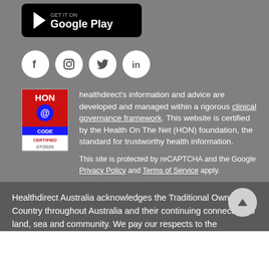[Figure (logo): Google Play store download button badge (black background with Play triangle icon and 'Google Play' text)]
[Figure (logo): Four social media icons in white circles: Facebook (f), Instagram (camera), Twitter (bird), LinkedIn (in)]
[Figure (logo): HON Code Certified badge - red/blue box with HON @CODE logo, CERTIFIED 07/2020]
healthdirect's information and advice are developed and managed within a rigorous clinical governance framework. This website is certified by the Health On The Net (HON) foundation, the standard for trustworthy health information.
This site is protected by reCAPTCHA and the Google Privacy Policy and Terms of Service apply.
Healthdirect Australia acknowledges the Traditional Owners of Country throughout Australia and their continuing connection to land, sea and community. We pay our respects to the